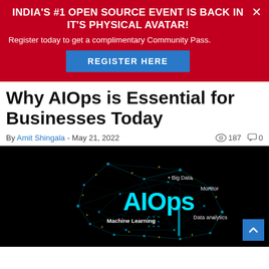INDIA'S #1 OPEN SOURCE EVENT IS BACK IN IT'S PHYSICAL AVATAR!
Register today to get a complimentary Community Pass.
REGISTER HERE
Why AIOps is Essential for Businesses Today
By Amit Shingala - May 21, 2022   187   0
[Figure (illustration): Digital brain illustration with AIOps text and labels: Big Data, Monitor, Machine Learning, Data analytics on dark background with glowing network connections]